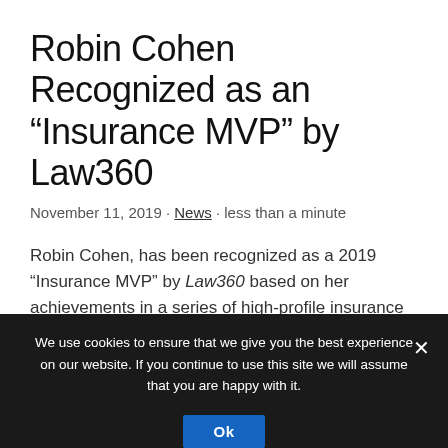Robin Cohen Recognized as an “Insurance MVP” by Law360
November 11, 2019 · News · less than a minute
Robin Cohen, has been recognized as a 2019 “Insurance MVP” by Law360 based on her achievements in a series of high-profile insurance recovery disputes over the past year. This is the fifth time Ms. Cohen has received this distinguished honor.
Robin is a seasoned trial lawyer with more than 30 years of experience trying and litigating many of the nation’s
We use cookies to ensure that we give you the best experience on our website. If you continue to use this site we will assume that you are happy with it.